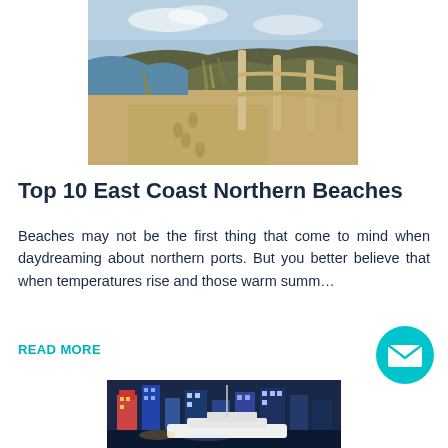[Figure (photo): Beach photo showing sandy dunes with a wooden fence, grassy vegetation, water, and hills in the background under a blue sky]
Top 10 East Coast Northern Beaches
Beaches may not be the first thing that come to mind when daydreaming about northern ports. But you better believe that when temperatures rise and those warm summ...
READ MORE
[Figure (photo): City skyline at night/dusk with tall buildings lit up, a marina in the foreground with a large white yacht]
[Figure (other): Teal circular email/envelope icon button]